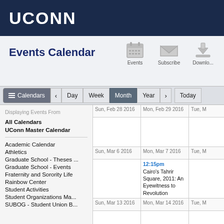UCONN
Events Calendar
[Figure (screenshot): UConn Events Calendar webpage screenshot showing navigation icons (Events, Subscribe, Download), toolbar with Calendars, Day, Week, Month, Year, Today buttons, a sidebar listing calendars, and a monthly calendar grid showing dates in late February and early March 2016 with an event 'Cairo's Tahrir Square, 2011: An Eyewitness to Revolution' at 12:15pm on Mon, Mar 7 2016.]